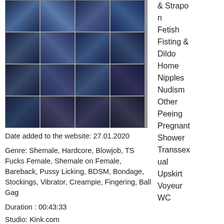[Figure (photo): Grid of 16 video thumbnail images arranged in 4 rows and 4 columns, showing adult content scenes]
Date added to the website: 27.01.2020
Genre: Shemale, Hardcore, Blowjob, TS Fucks Female, Shemale on Female, Bareback, Pussy Licking, BDSM, Bondage, Stockings, Vibrator, Creampie, Fingering, Ball Gag
Duration : 00:43:33
Studio: Kink.com
Starring: Korra Del Rio, Bunny Colby
& Strapon
Fetish
Fisting & Dildo
Home
Nipples
Nudism
Other
Peeing
Pregnant
Shower
Transsexual
Upskirt
Voyeur
WC